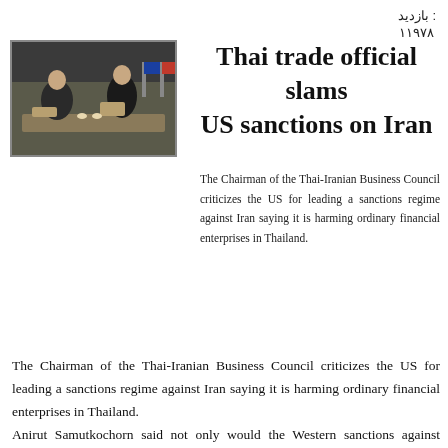بازدید : ۱۱۹۷۸
[Figure (photo): Two men in suits seated at a meeting table with flags in background]
Thai trade official slams US sanctions on Iran
The Chairman of the Thai-Iranian Business Council criticizes the US for leading a sanctions regime against Iran saying it is harming ordinary financial enterprises in Thailand.
The Chairman of the Thai-Iranian Business Council criticizes the US for leading a sanctions regime against Iran saying it is harming ordinary financial enterprises in Thailand.
Anirut Samutkochorn said not only would the Western sanctions against Tehran ultimately fail but they would also backfire. The